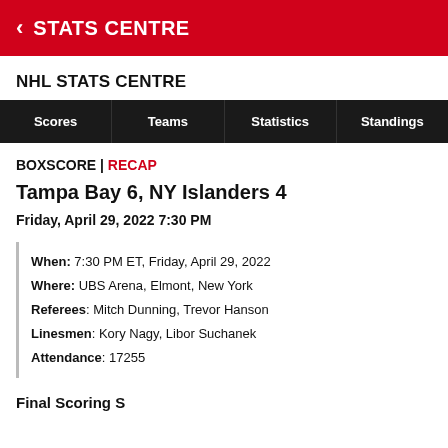STATS CENTRE
NHL STATS CENTRE
| Scores | Teams | Statistics | Standings |
| --- | --- | --- | --- |
BOXSCORE | RECAP
Tampa Bay 6, NY Islanders 4
Friday, April 29, 2022 7:30 PM
When: 7:30 PM ET, Friday, April 29, 2022
Where: UBS Arena, Elmont, New York
Referees: Mitch Dunning, Trevor Hanson
Linesmen: Kory Nagy, Libor Suchanek
Attendance: 17255
Final Scoring S...